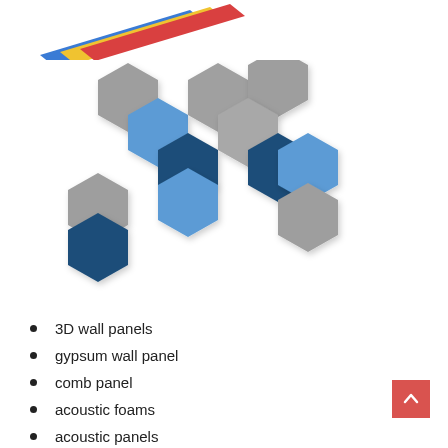[Figure (illustration): Colorful flat rectangular panels (blue, yellow, red) partially visible at top of page]
[Figure (illustration): Arrangement of hexagonal acoustic panels in gray, blue (light and dark) colors in a scattered mosaic pattern]
3D wall panels
gypsum wall panel
comb panel
acoustic foams
acoustic panels